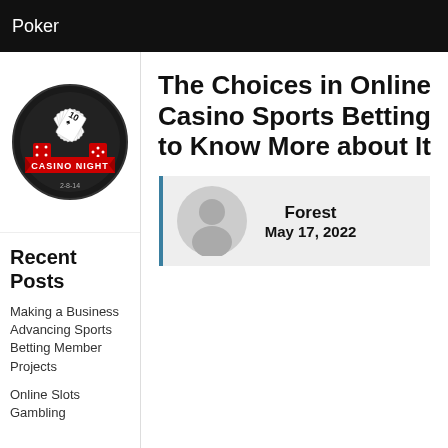Poker
[Figure (logo): Casino Night circular logo with playing cards and dice, red ribbon with 'CASINO NIGHT' text]
Recent Posts
Making a Business Advancing Sports Betting Member Projects
Online Slots Gambling
The Choices in Online Casino Sports Betting to Know More about It
[Figure (illustration): Author avatar placeholder (grey silhouette of a person) with name Forest and date May 17, 2022]